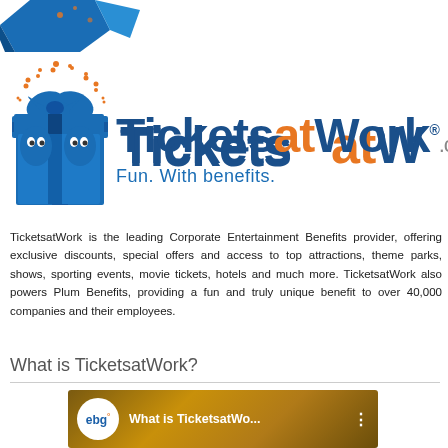[Figure (logo): Partial blue origami/3D shape logo at top left (cropped)]
[Figure (logo): TicketsatWork.com logo with gift box mascot and tagline 'Fun. With benefits.']
TicketsatWork is the leading Corporate Entertainment Benefits provider, offering exclusive discounts, special offers and access to top attractions, theme parks, shows, sporting events, movie tickets, hotels and much more. TicketsatWork also powers Plum Benefits, providing a fun and truly unique benefit to over 40,000 companies and their employees.
What is TicketsatWork?
[Figure (screenshot): Video thumbnail showing EBG logo circle on left, text 'What is TicketsatWo...' on golden/brown background with YouTube play button area visible]